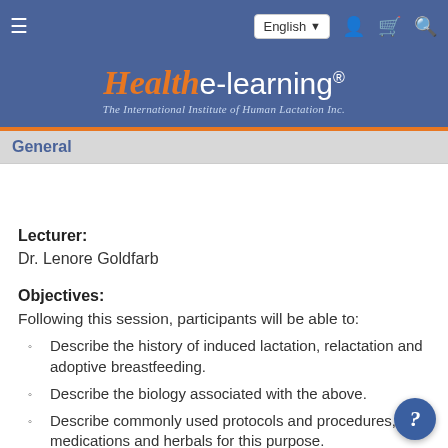Health e-learning® — The International Institute of Human Lactation Inc.
General
Lecturer:
Dr. Lenore Goldfarb
Objectives:
Following this session, participants will be able to:
Describe the history of induced lactation, relactation and adoptive breastfeeding.
Describe the biology associated with the above.
Describe commonly used protocols and procedures, medications and herbals for this purpose.
Describe the research associated with the above and the role of the health care provider.